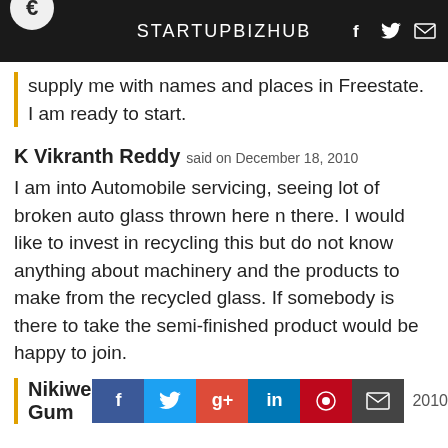STARTUPBIZHUB
supply me with names and places in Freestate. I am ready to start.
K Vikranth Reddy said on December 18, 2010
I am into Automobile servicing, seeing lot of broken auto glass thrown here n there. I would like to invest in recycling this but do not know anything about machinery and the products to make from the recycled glass. If somebody is there to take the semi-finished product would be happy to join.
Nikiwe Gum... 2010